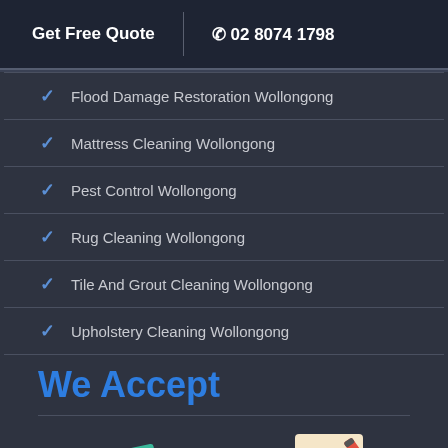Get Free Quote | 02 8074 1798
Flood Damage Restoration Wollongong
Mattress Cleaning Wollongong
Pest Control Wollongong
Rug Cleaning Wollongong
Tile And Grout Cleaning Wollongong
Upholstery Cleaning Wollongong
We Accept
[Figure (illustration): Payment method icons: cash/money bills with coins on the left, and a cheque/check with a pen on the right]